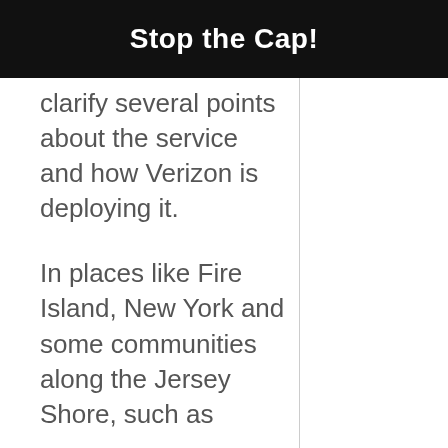Stop the Cap!
clarify several points about the service and how Verizon is deploying it.
In places like Fire Island, New York and some communities along the Jersey Shore, such as